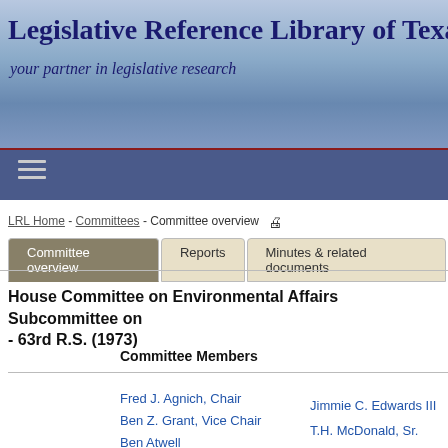Legislative Reference Library of Texas
your partner in legislative research
LRL Home - Committees - Committee overview
Committee overview | Reports | Minutes & related documents
House Committee on Environmental Affairs Subcommittee on - 63rd R.S. (1973)
Committee Members
Fred J. Agnich, Chair
Ben Z. Grant, Vice Chair
Ben Atwell
A.L. 'Tony' Dramberger
Jimmie C. Edwards III
T.H. McDonald, Sr.
Ed R. Watson